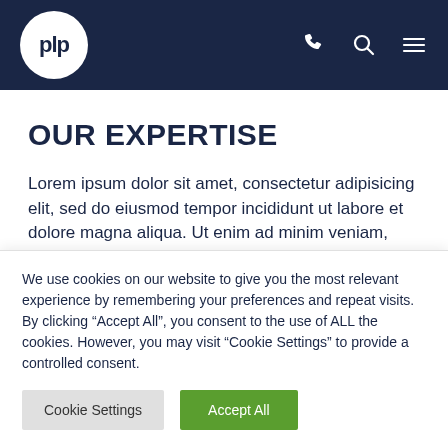plp — navigation header with phone, search, and menu icons
OUR EXPERTISE
Lorem ipsum dolor sit amet, consectetur adipisicing elit, sed do eiusmod tempor incididunt ut labore et dolore magna aliqua. Ut enim ad minim veniam, quis nostrud exercitation
We use cookies on our website to give you the most relevant experience by remembering your preferences and repeat visits. By clicking “Accept All”, you consent to the use of ALL the cookies. However, you may visit “Cookie Settings” to provide a controlled consent.